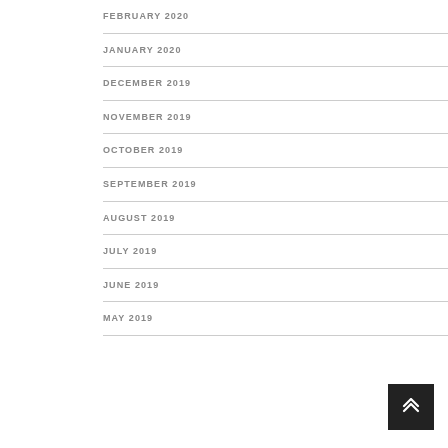FEBRUARY 2020
JANUARY 2020
DECEMBER 2019
NOVEMBER 2019
OCTOBER 2019
SEPTEMBER 2019
AUGUST 2019
JULY 2019
JUNE 2019
MAY 2019